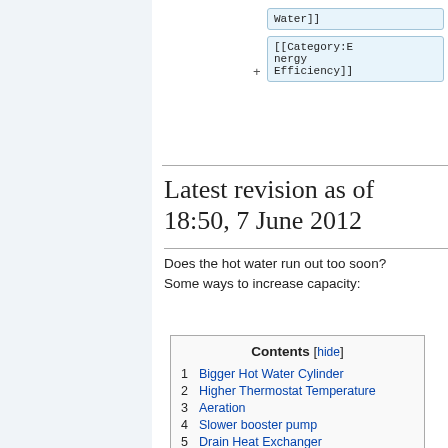[Figure (screenshot): Wikipedia-style diff/edit interface showing two category tag boxes: '[[Category:Water]]' and '[[Category:Energy Efficiency]]' with a '+' symbol between them, on a light blue background]
Latest revision as of 18:50, 7 June 2012
Does the hot water run out too soon? Some ways to increase capacity:
| Contents [hide] |
| --- |
| 1  Bigger Hot Water Cylinder |
| 2  Higher Thermostat Temperature |
| 3  Aeration |
| 4  Slower booster pump |
| 5  Drain Heat Exchanger |
| 6  Move Thermostat Lower |
| 7  (partially visible) |